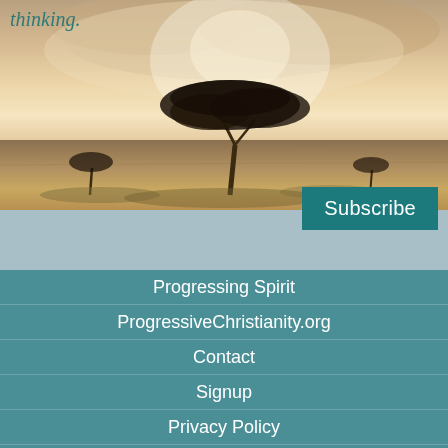[Figure (photo): Sepia-toned landscape photograph with an acacia tree silhouetted against a dramatic cloudy sky, savanna grassland in the foreground]
thinking.
Subscribe
Progressing Spirit
ProgressiveChristianity.org
Contact
Signup
Privacy Policy
Help